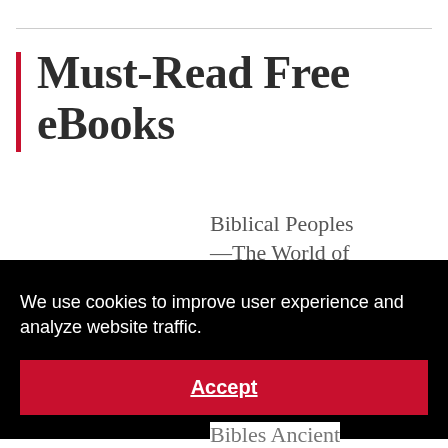Must-Read Free eBooks
Biblical Peoples—The World of Ancient Israel
We use cookies to improve user experience and analyze website traffic.
Accept
Bibles Ancient